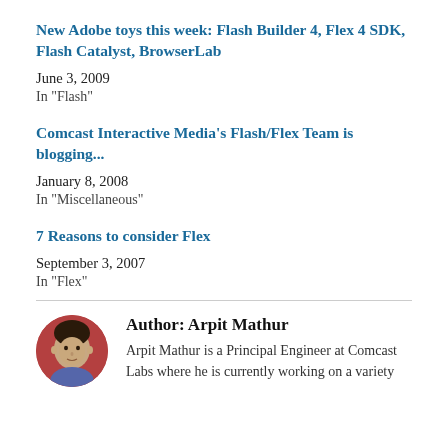New Adobe toys this week: Flash Builder 4, Flex 4 SDK, Flash Catalyst, BrowserLab
June 3, 2009
In "Flash"
Comcast Interactive Media's Flash/Flex Team is blogging...
January 8, 2008
In "Miscellaneous"
7 Reasons to consider Flex
September 3, 2007
In "Flex"
[Figure (photo): Circular headshot photo of Arpit Mathur]
Author: Arpit Mathur
Arpit Mathur is a Principal Engineer at Comcast Labs where he is currently working on a variety